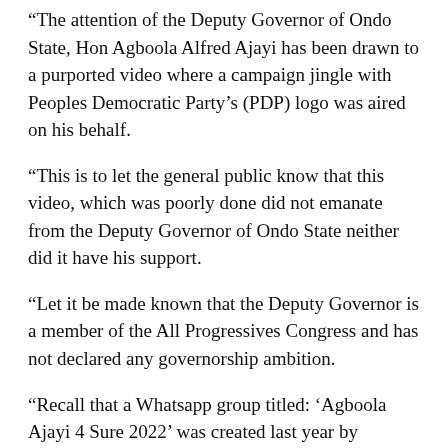“The attention of the Deputy Governor of Ondo State, Hon Agboola Alfred Ajayi has been drawn to a purported video where a campaign jingle with Peoples Democratic Party’s (PDP) logo was aired on his behalf.
“This is to let the general public know that this video, which was poorly done did not emanate from the Deputy Governor of Ondo State neither did it have his support.
“Let it be made known that the Deputy Governor is a member of the All Progressives Congress and has not declared any governorship ambition.
“Recall that a Whatsapp group titled: ‘Agboola Ajayi 4 Sure 2022’ was created last year by Omobone Tunde to champion the governorship ambition of the Deputy Governor. The man in question has denied having anything to do with the Whatsapp group.